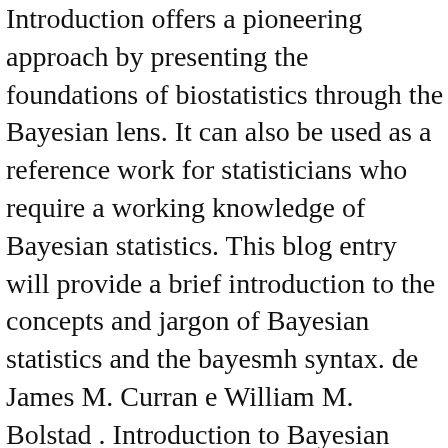Introduction offers a pioneering approach by presenting the foundations of biostatistics through the Bayesian lens. It can also be used as a reference work for statisticians who require a working knowledge of Bayesian statistics. This blog entry will provide a brief introduction to the concepts and jargon of Bayesian statistics and the bayesmh syntax. de James M. Curran e William M. Bolstad . Introduction to Bayesian Statistics Machine Learning and Data Mining Philipp Singer CC image courtesy of user mattbuck007 on Flickr 2. Software for Bayesian Statistics Basic concepts Single-parameter models Hypothesis testing Simple multiparameter models Markov chains MCMC methods Model checking and comparison Hierarchical and regression models Categorical data Introduction to Bayesian analysis, autumn 2013 University of Tampere